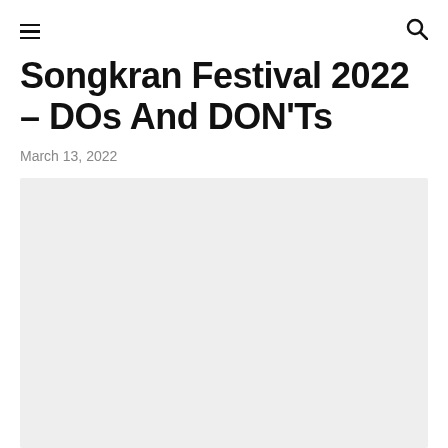≡  🔍
Songkran Festival 2022 – DOs And DON'Ts
March 13, 2022
[Figure (photo): Light gray placeholder image rectangle for Songkran Festival article]